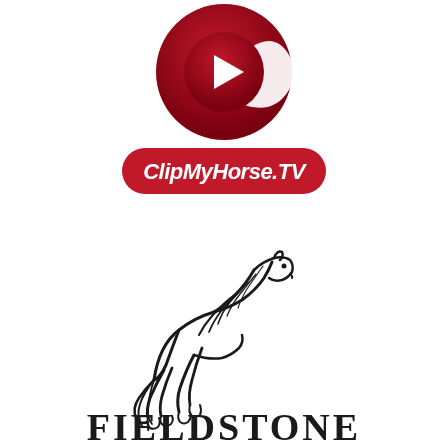[Figure (logo): ClipMyHorse.TV logo: a dark red circular play-button icon above a red rounded rectangle badge with white italic bold text 'ClipMyHorse.TV']
[Figure (logo): Fieldstone logo: black line-art illustration of a jumping horse above large serif black text 'FIELDSTONE']